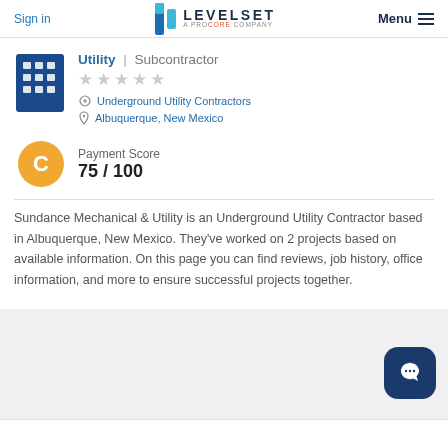Sign in | LEVELSET A PROCORE COMPANY | Menu
Utility | Subcontractor
★★★★★ (empty stars)
Underground Utility Contractors
Albuquerque, New Mexico
Payment Score
75 / 100
Sundance Mechanical & Utility is an Underground Utility Contractor based in Albuquerque, New Mexico. They've worked on 2 projects based on available information. On this page you can find reviews, job history, office information, and more to ensure successful projects together.